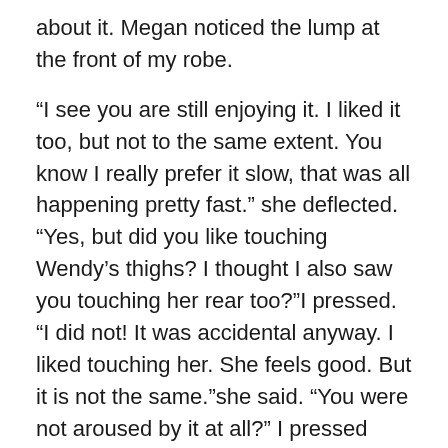about it. Megan noticed the lump at the front of my robe.
“I see you are still enjoying it. I liked it too, but not to the same extent. You know I really prefer it slow, that was all happening pretty fast.” she deflected. “Yes, but did you like touching Wendy’s thighs? I thought I also saw you touching her rear too?”I pressed. “I did not! It was accidental anyway. I liked touching her. She feels good. But it is not the same.”shesaid. “You were not aroused by it at all?” I pressed again. “Maybe a little.” The bathroom door opened and Wendy brought those long bare legs back in.
Just as planned she was again in her short black robe. She was brushing her hair as she entered and sat back down in her armchair. I could smell a faint whiff of perfume as she passed by. A good sign I thought. Megan went